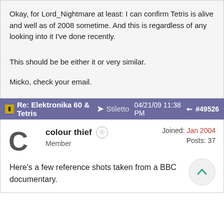Okay, for Lord_Nightmare at least: I can confirm Tetris is alive and well as of 2008 sometime. And this is regardless of any looking into it I've done recently.
This should be be either it or very similar.
Micko, check your email.
Re: Elektronika 60 & Tetris → Stiletto 04/21/09 11:38 PM #49526
colour thief  Member  Joined: Jan 2004  Posts: 37
Here's a few reference shots taken from a BBC documentary.